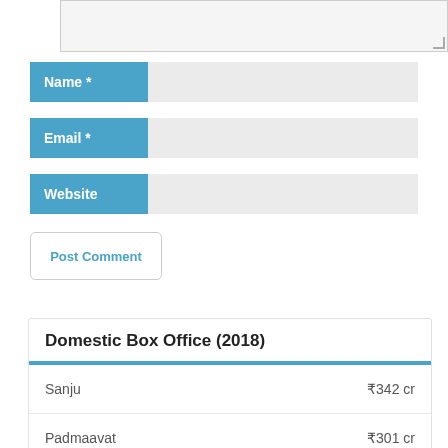[Figure (screenshot): Partial textarea input box at top of page]
Name *
Email *
Website
Post Comment
| Movie | Box Office |
| --- | --- |
| Sanju | ₹342 cr |
| Padmaavat | ₹301 cr |